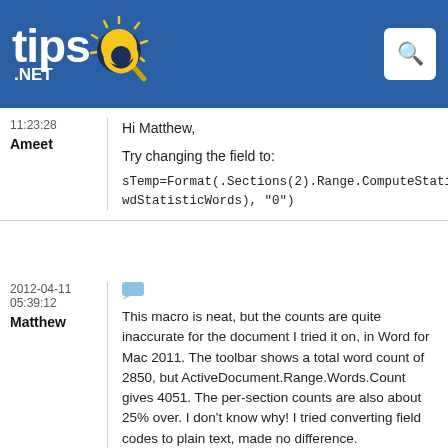tips.NET
11:23:28
Ameet
Hi Matthew,
Try changing the field to:
sTemp=Format(.Sections(2).Range.ComputeStatistics(
wdStatisticWords), "0")
2012-04-11
05:39:12
Matthew
This macro is neat, but the counts are quite inaccurate for the document I tried it on, in Word for Mac 2011. The toolbar shows a total word count of 2850, but ActiveDocument.Range.Words.Count gives 4051. The per-section counts are also about 25% over. I don't know why! I tried converting field codes to plain text, made no difference.